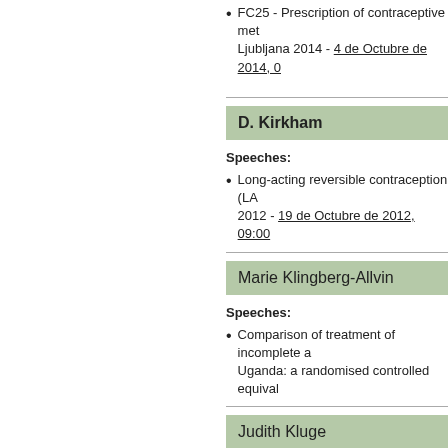FC25 - Prescription of contraceptive methods Ljubljana 2014 - 4 de Octubre de 2014, 0...
D. Kirkham
Speeches:
Long-acting reversible contraception (LA... 2012 - 19 de Octubre de 2012, 09:00
Marie Klingberg-Allvin
Speeches:
Comparison of treatment of incomplete a... Uganda: a randomised controlled equival...
Judith Kluge
Speeches:
Progress in South Africa - Lisbon 2016 -...